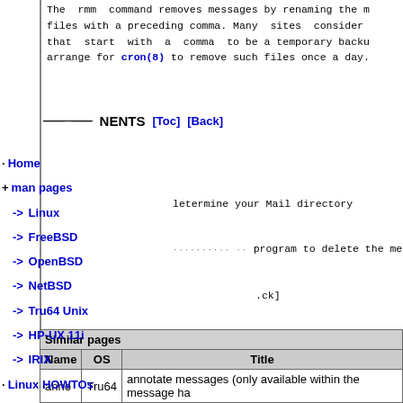The  rmm  command removes messages by renaming the m files with a preceding comma. Many  sites  consider that  start  with  a  comma  to be a temporary backu arrange for cron(8) to remove such files once a day.
NENTS  [Toc]  [Back]
Home
+ man pages
-> Linux
-> FreeBSD
-> OpenBSD
-> NetBSD
-> Tru64 Unix
-> HP-UX 11i
-> IRIX
Linux HOWTOs
FreeBSD Tips
*niX Forums
letermine your Mail directory
program to delete the message
.ck]
profile.
[Back]
[ Back ]
| Name | OS | Title |
| --- | --- | --- |
| anno | Tru64 | annotate messages (only available within the message ha |